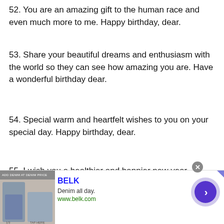52. You are an amazing gift to the human race and even much more to me. Happy birthday, dear.
53. Share your beautiful dreams and enthusiasm with the world so they can see how amazing you are. Have a wonderful birthday dear.
54. Special warm and heartfelt wishes to you on your special day. Happy birthday, dear.
55. I wish you a healthier and happier new year. Happy birthday, dear.
[Figure (screenshot): Advertisement banner for BELK: 'Denim all day. www.belk.com' with an image of people wearing denim, a close button, and a forward arrow button.]